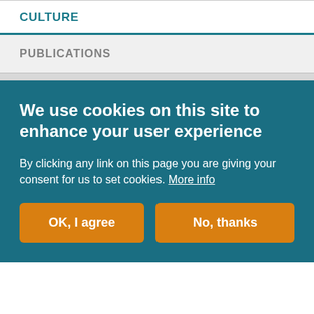CULTURE
PUBLICATIONS
We use cookies on this site to enhance your user experience
By clicking any link on this page you are giving your consent for us to set cookies. More info
OK, I agree
No, thanks